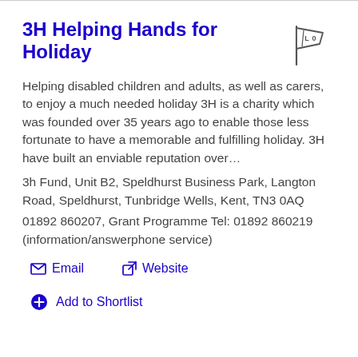3H Helping Hands for Holiday
Helping disabled children and adults, as well as carers, to enjoy a much needed holiday 3H is a charity which was founded over 35 years ago to enable those less fortunate to have a memorable and fulfilling holiday. 3H have built an enviable reputation over…
3h Fund, Unit B2, Speldhurst Business Park, Langton Road, Speldhurst, Tunbridge Wells, Kent, TN3 0AQ
01892 860207, Grant Programme Tel: 01892 860219 (information/answerphone service)
Email  Website
Add to Shortlist